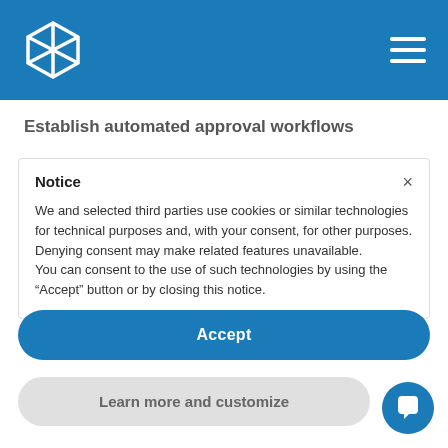[Figure (logo): White geometric diamond/hexagon logo icon on blue header background]
Establish automated approval workflows
Notice
We and selected third parties use cookies or similar technologies for technical purposes and, with your consent, for other purposes. Denying consent may make related features unavailable.
You can consent to the use of such technologies by using the “Accept” button or by closing this notice.
Accept
Learn more and customize